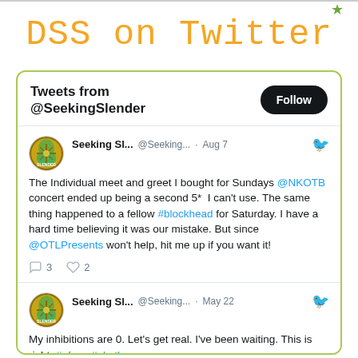★
DSS on Twitter
[Figure (screenshot): Twitter widget showing Tweets from @SeekingSlender with two tweet cards. First tweet by Seeking Sl... @Seeking... Aug 7: 'The Individual meet and greet I bought for Sundays @NKOTB concert ended up being a second 5* I can't use. The same thing happened to a fellow #blockhead for Saturday. I have a hard time believing it was our mistake. But since @OTLPresents won't help, hit me up if you want it!' with 3 comments and 2 likes. Second tweet May 22: 'My inhibitions are 0. Let's get real. I've been waiting. This is right. #ofaso #nkotb']